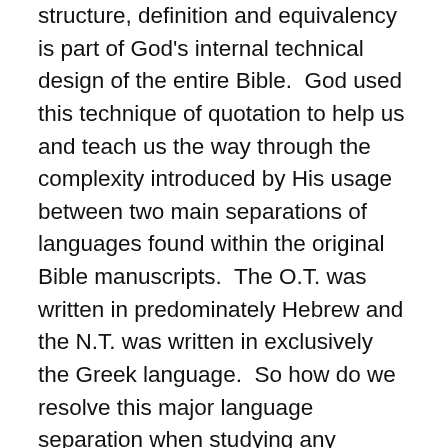structure, definition and equivalency is part of God's internal technical design of the entire Bible.  God used this technique of quotation to help us and teach us the way through the complexity introduced by His usage between two main separations of languages found within the original Bible manuscripts.  The O.T. was written in predominately Hebrew and the N.T. was written in exclusively the Greek language.  So how do we resolve this major language separation when studying any subject in both the Old and the New Testaments?  We do it by finding and using God's laws designed for us to follow.  Following God's laws of how to cross language boundaries provide us very specific rules and boundary limits to avoid an “anything goes approach to Bible interpretation”.  Without following God’s established rules there is only a random unstructured chaos approach to interpretation taking place and no one can ever experience what they will